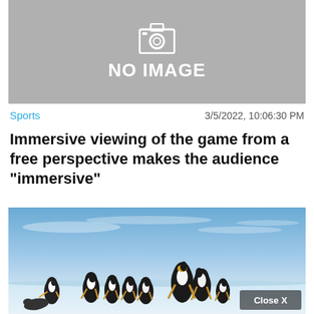[Figure (other): Gray placeholder box with camera icon and 'NO IMAGE' text]
Sports    3/5/2022, 10:06:30 PM
Immersive viewing of the game from a free perspective makes the audience "immersive"
[Figure (photo): Photo of a group of emperor penguins standing on snow and ice under a blue sky with wispy clouds. A 'Close X' button overlay appears in the bottom right corner.]